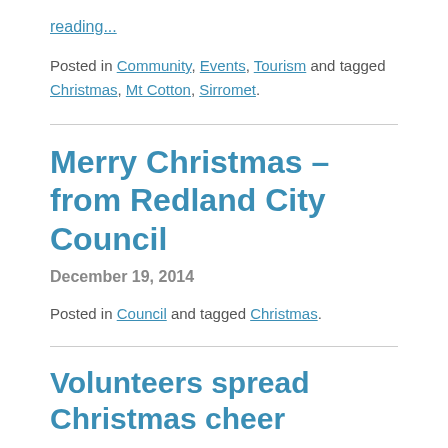reading...
Posted in Community, Events, Tourism and tagged Christmas, Mt Cotton, Sirromet.
Merry Christmas – from Redland City Council
December 19, 2014
Posted in Council and tagged Christmas.
Volunteers spread Christmas cheer
December 17, 2012
The Redlands Community Wildlife Care Network meeting transformed itself into Santa's workshop to create Christmas